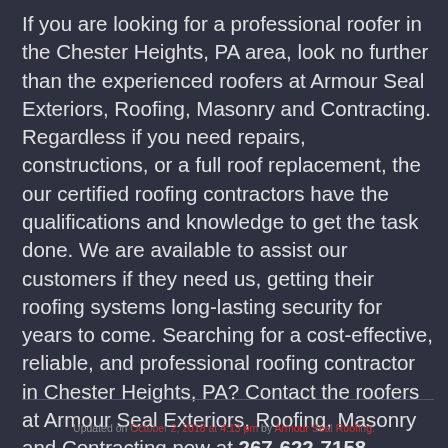If you are looking for a professional roofer in the Chester Heights, PA area, look no further than the experienced roofers at Armour Seal Exteriors, Roofing, Masonry and Contracting. Regardless if you need repairs, constructions, or a full roof replacement, the our certified roofing contractors have the qualifications and knowledge to get the task done. We are available to assist our customers if they need us, getting their roofing systems long-lasting security for years to come. Searching for a cost-effective, reliable, and professional roofing contractor in Chester Heights, PA? Contact the roofers at Armour Seal Exteriors, Roofing, Masonry and Contracting now at 267-622-7158.
Updated on October 2, 2018 at 4:13 pm by Armour Seal Roofing.